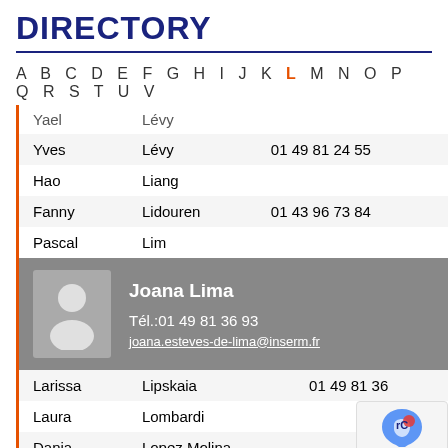DIRECTORY
A B C D E F G H I J K L M N O P Q R S T U V
| First | Last | Phone |
| --- | --- | --- |
| Yael | Lévy |  |
| Yves | Lévy | 01 49 81 24 55 |
| Hao | Liang |  |
| Fanny | Lidouren | 01 43 96 73 84 |
| Pascal | Lim |  |
[Figure (other): Profile card for Joana Lima with avatar silhouette, phone 01 49 81 36 93, email joana.esteves-de-lima@inserm.fr]
| First | Last | Phone |
| --- | --- | --- |
| Larissa | Lipskaia | 01 49 81 36... |
| Laura | Lombardi |  |
| Dania | Lopez Molina |  |